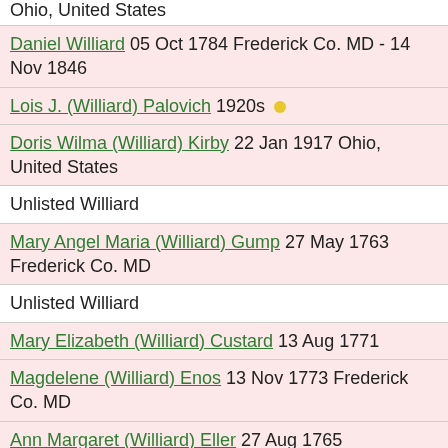Ohio, United States
Daniel Williard 05 Oct 1784 Frederick Co. MD - 14 Nov 1846
Lois J. (Williard) Palovich 1920s
Doris Wilma (Williard) Kirby 22 Jan 1917 Ohio, United States
Unlisted Williard
Mary Angel Maria (Williard) Gump 27 May 1763 Frederick Co. MD
Unlisted Williard
Mary Elizabeth (Williard) Custard 13 Aug 1771
Magdelene (Williard) Enos 13 Nov 1773 Frederick Co. MD
Ann Margaret (Williard) Eller 27 Aug 1765